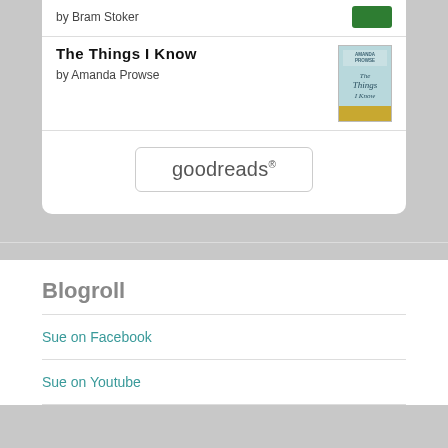by Bram Stoker
The Things I Know
by Amanda Prowse
[Figure (logo): goodreads logo button with rounded rectangle border]
Blogroll
Sue on Facebook
Sue on Youtube